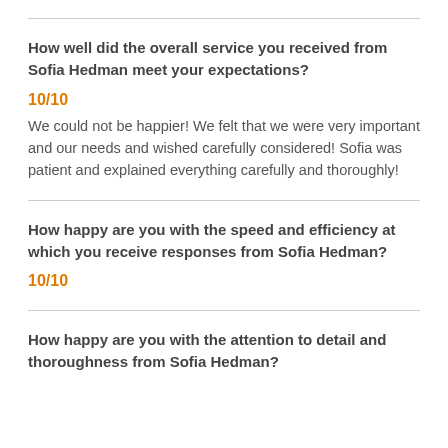How well did the overall service you received from Sofia Hedman meet your expectations?
10/10
We could not be happier! We felt that we were very important and our needs and wished carefully considered! Sofia was patient and explained everything carefully and thoroughly!
How happy are you with the speed and efficiency at which you receive responses from Sofia Hedman?
10/10
How happy are you with the attention to detail and thoroughness from Sofia Hedman?